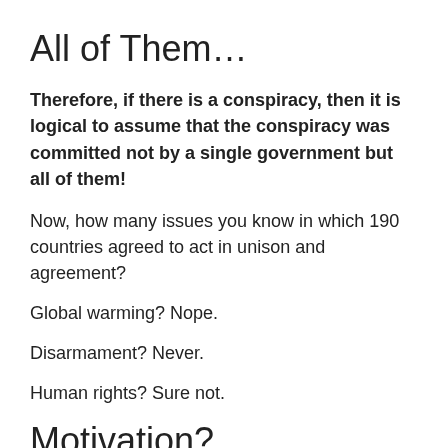All of Them…
Therefore, if there is a conspiracy, then it is logical to assume that the conspiracy was committed not by a single government but all of them!
Now, how many issues you know in which 190 countries agreed to act in unison and agreement?
Global warming? Nope.
Disarmament? Never.
Human rights? Sure not.
Motivation?